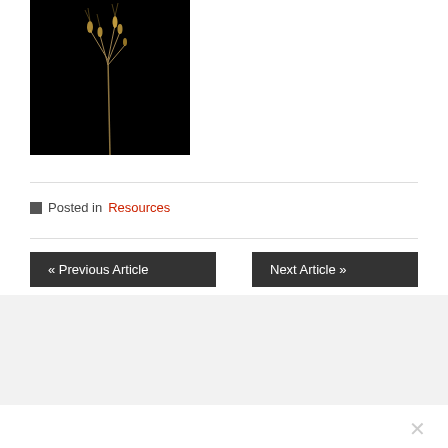[Figure (photo): A plant or grass stem with golden/yellow seed heads against a dark black background]
■ Posted in Resources
« Previous Article
Next Article »